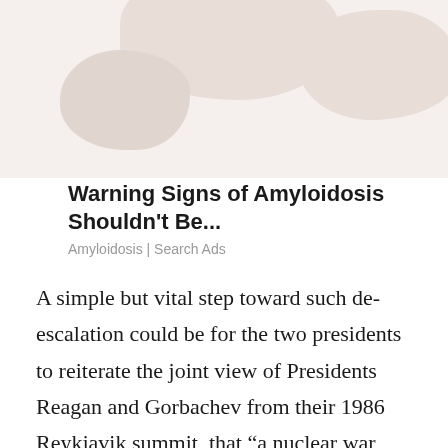[Figure (illustration): Abstract blob/organic shapes in muted beige and taupe tones forming an advertisement banner background]
Warning Signs of Amyloidosis Shouldn't Be...
Amyloidosis | Search Ads
A simple but vital step toward such de-escalation could be for the two presidents to reiterate the joint view of Presidents Reagan and Gorbachev from their 1986 Reykjavik summit, that “a nuclear war cannot be won, and so should never be fought.” In fact, thirty-two years ago the U.S. and Soviet leaders discussed the possibility of eliminating nuclear weapons altogether, a goal